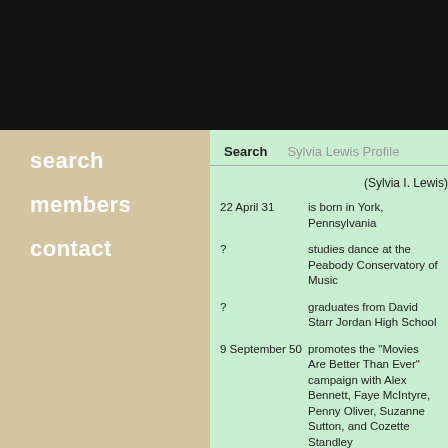search
members
contact
Search   Sylvia Lewis Profile
(Sylvia I. Lewis)
| Date | Event |
| --- | --- |
| 22 April 31 | is born in York, Pennsylvania |
| ? | studies dance at the Peabody Conservatory of Music |
| ? | graduates from David Starr Jordan High School |
| 9 September 50 | promotes the "Movies Are Better Than Ever" campaign with Alex Bennett, Faye McIntyre, Penny Oliver, Suzanne Sutton, and Cozette Standley |
| 51 | is a dancer at Larry Potter's Supper Club |
| 22 June 53 | columnist Florabel Muir reports that "sitting a few tables away |